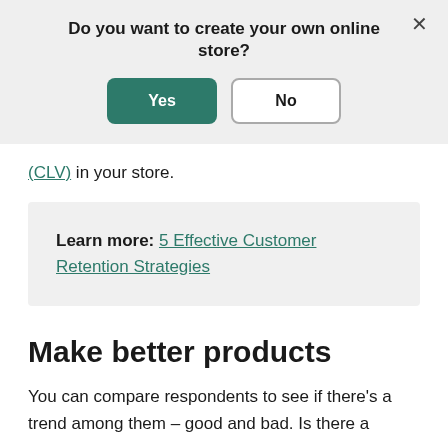Do you want to create your own online store?
Yes | No
(CLV) in your store.
Learn more: 5 Effective Customer Retention Strategies
Make better products
You can compare respondents to see if there's a trend among them – good and bad. Is there a